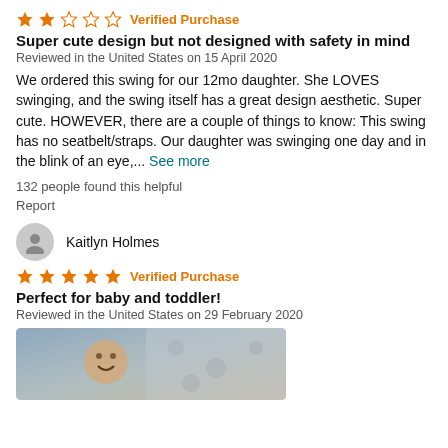[Figure (other): 2 out of 5 stars rating with Verified Purchase label]
Super cute design but not designed with safety in mind
Reviewed in the United States on 15 April 2020
We ordered this swing for our 12mo daughter. She LOVES swinging, and the swing itself has a great design aesthetic. Super cute. HOWEVER, there are a couple of things to know: This swing has no seatbelt/straps. Our daughter was swinging one day and in the blink of an eye,... See more
132 people found this helpful
Report
[Figure (other): Reviewer avatar icon for Kaitlyn Holmes]
Kaitlyn Holmes
[Figure (other): 5 out of 5 stars rating with Verified Purchase label]
Perfect for baby and toddler!
Reviewed in the United States on 29 February 2020
[Figure (photo): Photo of a smiling toddler on a swing]